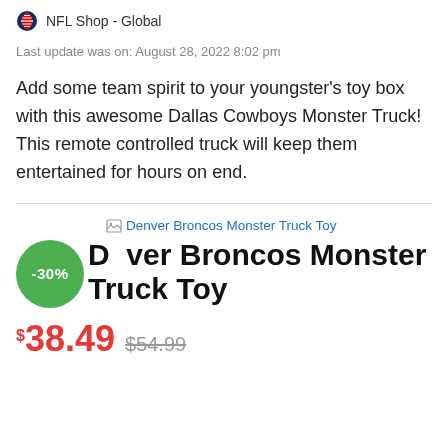NFL Shop - Global
Last update was on: August 28, 2022 8:02 pm
Add some team spirit to your youngster's toy box with this awesome Dallas Cowboys Monster Truck! This remote controlled truck will keep them entertained for hours on end.
[Figure (other): Broken image placeholder link for Denver Broncos Monster Truck Toy product image]
Denver Broncos Monster Truck Toy
$38.49  $54.99